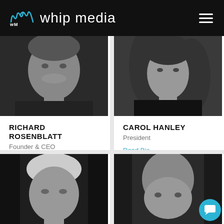whip media
[Figure (photo): Black and white headshot of Richard Rosenblatt, smiling man]
RICHARD ROSENBLATT
Founder & CEO
Read Bio
[Figure (photo): Black and white headshot of Carol Hanley, woman with long curly hair]
CAROL HANLEY
President
Read Bio
[Figure (photo): Black and white headshot of older man with white hair, partially cropped]
[Figure (photo): Black and white headshot of bald man, partially cropped, with chat bubble overlay]